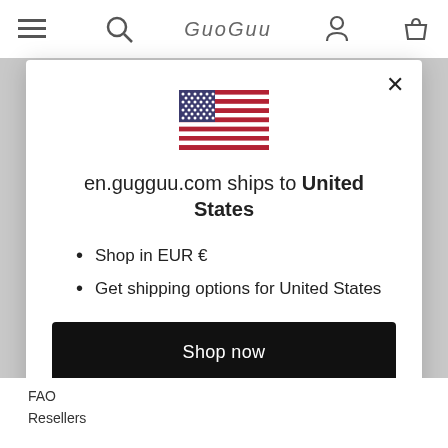GuoGuu navigation bar
[Figure (screenshot): US flag icon inside modal dialog]
en.gugguu.com ships to United States
Shop in EUR €
Get shipping options for United States
Shop now
Change shipping country
FAO
Resellers